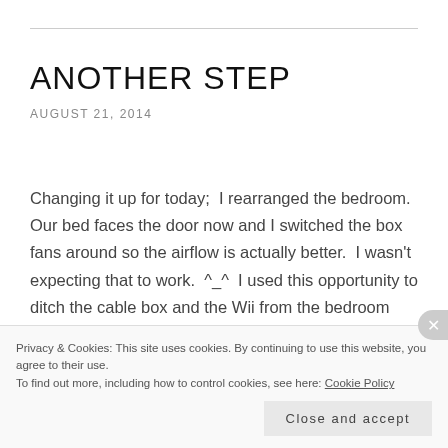ANOTHER STEP
AUGUST 21, 2014
Changing it up for today;  I rearranged the bedroom.  Our bed faces the door now and I switched the box fans around so the airflow is actually better.  I wasn't expecting that to work.  ^_^  I used this opportunity to ditch the cable box and the Wii from the bedroom flotsam, thinned out the dvds too.
Privacy & Cookies: This site uses cookies. By continuing to use this website, you agree to their use.
To find out more, including how to control cookies, see here: Cookie Policy
Close and accept